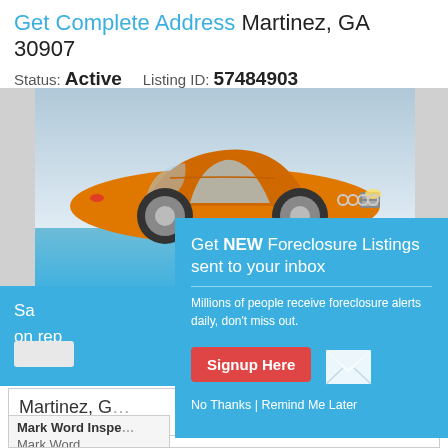Get Complete Address Martinez, GA 30907
Status: Active   Listing ID: 57484903
[Figure (screenshot): Orange Audi sports car advertisement with blue background strip showing partial text 'Sa... on rep...']
[Figure (infographic): Popup overlay on blue background: 'Get NEW Foreclosure Listings sent to your inbox'. Text: 'Millions of people receive foreclosure alerts daily, don't miss out.' Contains Signup Here button, envelope icon, and 'No Thanks | Remind Me Later' link.]
Martinez, G... Home Inspe...
Mark Word Inspe... Mark Word
Related Websites